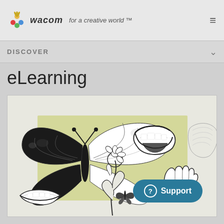wacom for a creative world™
DISCOVER
eLearning
[Figure (illustration): Illustration with black-and-white hand-drawn style drawings on a yellow-green background: a large monarch butterfly, an open mouth/lips, a daisy flower, a hand making a gesture, flowers and leaves, a small butterfly, and lips at bottom left. Partially cropped angel wing visible on right edge.]
Support